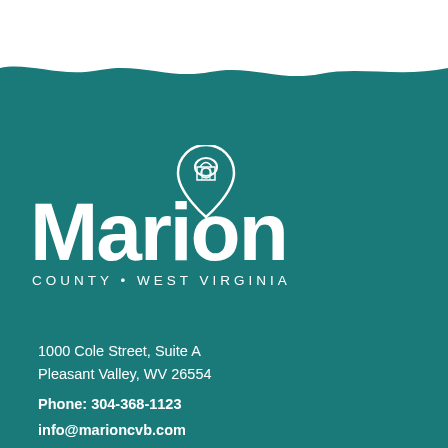Tags: antiques, Bed & Breakfast, collectibles, Fall, leafpeeping, travel, vintage, winery
[Figure (logo): Marion County West Virginia logo — white text and icon on teal background. Features large bold 'Marion' text with a location pin icon containing a courthouse dome over the letter 'i'. Below reads 'COUNTY • WEST VIRGINIA' in spaced capitals.]
1000 Cole Street, Suite A
Pleasant Valley, WV 26554
Phone: 304-368-1123
info@marioncvb.com